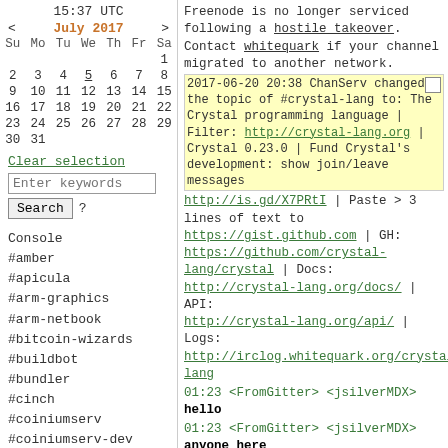15:37 UTC
< July 2017 >
| Su | Mo | Tu | We | Th | Fr | Sa |
| --- | --- | --- | --- | --- | --- | --- |
|  |  |  |  |  |  | 1 |
| 2 | 3 | 4 | 5 | 6 | 7 | 8 |
| 9 | 10 | 11 | 12 | 13 | 14 | 15 |
| 16 | 17 | 18 | 19 | 20 | 21 | 22 |
| 23 | 24 | 25 | 26 | 27 | 28 | 29 |
| 30 | 31 |  |  |  |  |  |
Clear selection
Enter keywords
Search  ?
Console
#amber
#apicula
#arm-graphics
#arm-netbook
#bitcoin-wizards
#buildbot
#bundler
#cinch
#coiniumserv
#coiniumserv-dev
#crystal-lang
Freenode is no longer serviced following a hostile takeover. Contact whitequark if your channel migrated to another network.
2017-06-20 20:38 ChanServ changed the topic of #crystal-lang to: The Crystal programming language | http://crystal-lang.org | Crystal 0.23.0 | Fund Crystal's development: http://is.gd/X7PRtI | Paste > 3 lines of text to https://gist.github.com | GH: https://github.com/crystal-lang/crystal | Docs: http://crystal-lang.org/docs/ | API: http://crystal-lang.org/api/ | Logs: http://irclog.whitequark.org/crystal-lang
01:23 <FromGitter> <jsilverMDX> hello
01:23 <FromGitter> <jsilverMDX> anyone here
01:23 <FromGitter> <jsilverMDX> ......
01:34 <FromGitter> <jsilverMDX> how much memory do I need to compile a crystal app?
02:29 <bmcginty> jsilverMDX: I have 16 gb, and you need at least four